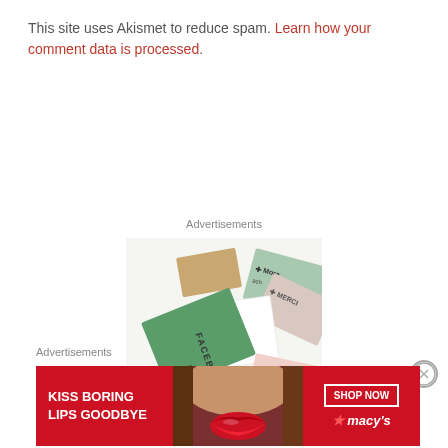This site uses Akismet to reduce spam. Learn how your comment data is processed.
Advertisements
[Figure (photo): Advertisement image showing overlapping credit/loyalty cards including Facebook and Merch branded cards in green, pink and white tones, with text 'We're the' visible at bottom]
Advertisements
[Figure (photo): Macy's advertisement banner with red background showing 'KISS BORING LIPS GOODBYE' text with woman's face showing red lips, and 'SHOP NOW' button with Macy's star logo]